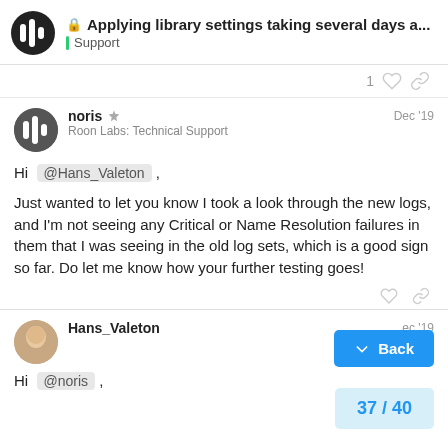Applying library settings taking several days a... | Support
1
noris | Roon Labs: Technical Support | Dec '19
Hi @Hans_Valeton ,

Just wanted to let you know I took a look through the new logs, and I'm not seeing any Critical or Name Resolution failures in them that I was seeing in the old log sets, which is a good sign so far. Do let me know how your further testing goes!
Hans_Valeton | Dec '19
Hi @noris ,
Back
37 / 40